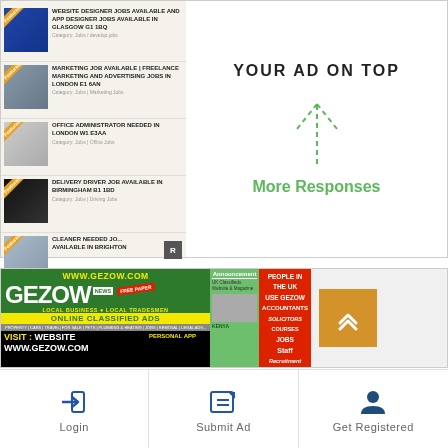[Figure (screenshot): Job listings panel showing featured listings for website designer, marketing, office administrator, delivery driver, and cleaner jobs]
[Figure (infographic): YOUR AD ON TOP with green dashed arrow and More Responses text in green]
[Figure (screenshot): Gezow.com classified ads banner advertisement]
[Figure (infographic): Navigation bar with Login, Submit Ad, and Get Registered buttons]
Login
Submit Ad
Get Registered